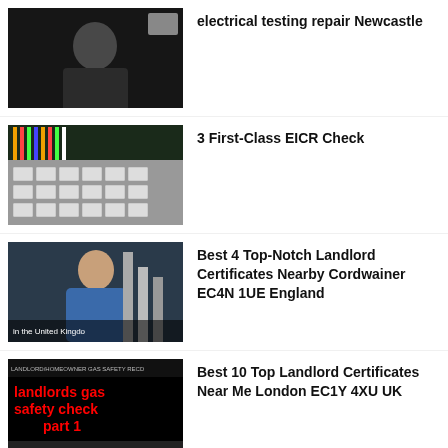[Figure (screenshot): Video thumbnail showing a man in black shirt, video thumbnail for electrical testing repair Newcastle]
electrical testing repair Newcastle
[Figure (screenshot): Video thumbnail showing electrical circuit breaker panel with colorful wires]
3 First-Class EICR Check
[Figure (screenshot): Video thumbnail showing a worker in blue shirt working on equipment, with text 'in the United Kingdom']
Best 4 Top-Notch Landlord Certificates Nearby Cordwainer EC4N 1UE England
[Figure (screenshot): Video thumbnail with black background showing text 'landlords gas safety check part 1' in red, with small header text]
Best 10 Top Landlord Certificates Near Me London EC1Y 4XU UK
[Figure (screenshot): Video thumbnail with dark background showing small text about landlord certificates]
Best Top-Notch Landlord Certificates Nearby Lon EC3A 5DS UK